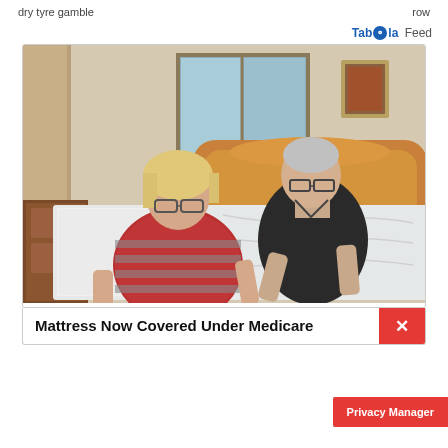dry tyre gamble    row
Taboola Feed
[Figure (photo): An elderly couple standing over a white mattress on a wooden bed frame in a bedroom. The woman has blonde hair and glasses, wearing a striped red and grey top. The man is behind her in a dark polo shirt, both leaning over the mattress.]
Mattress Now Covered Under Medicare
Privacy Manager